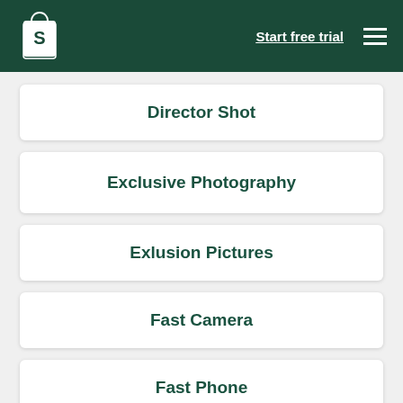Shopify — Start free trial
Director Shot
Exclusive Photography
Exlusion Pictures
Fast Camera
Fast Phone
Fast Photo Special (partial)